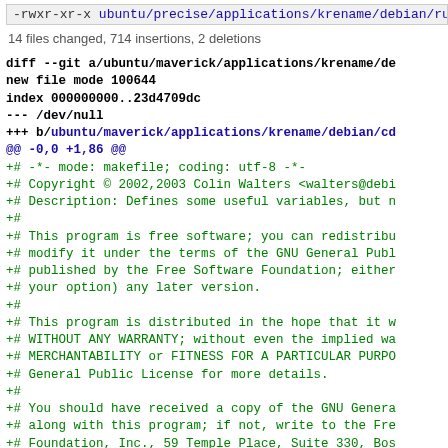-rwxr-xr-x ubuntu/precise/applications/krename/debian/rules
14 files changed, 714 insertions, 2 deletions
diff --git a/ubuntu/maverick/applications/krename/de
new file mode 100644
index 000000000..23d4709dc
--- /dev/null
+++ b/ubuntu/maverick/applications/krename/debian/cd
@@ -0,0 +1,86 @@
+# -*- mode: makefile; coding: utf-8 -*-
+# Copyright © 2002,2003 Colin Walters <walters@debi
+# Description: Defines some useful variables, but n
+#
+# This program is free software; you can redistribu
+# modify it under the terms of the GNU General Publ
+# published by the Free Software Foundation; either
+# your option) any later version.
+#
+# This program is distributed in the hope that it w
+# WITHOUT ANY WARRANTY; without even the implied wa
+# MERCHANTABILITY or FITNESS FOR A PARTICULAR PURPO
+# General Public License for more details.
+#
+# You should have received a copy of the GNU Genera
+# along with this program; if not, write to the Fre
+# Foundation, Inc., 59 Temple Place, Suite 330, Bos
+# 02111-1307 USA.
+
+ cdbs scripts path ?= /usr/lib/cdbs